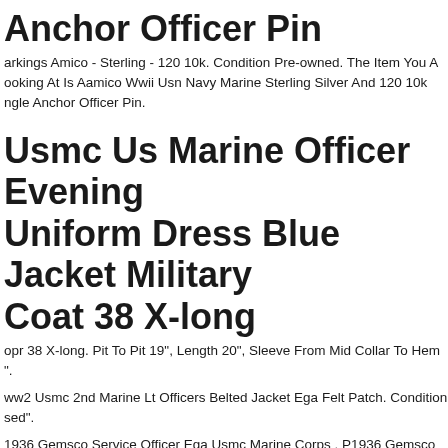Anchor Officer Pin
arkings Amico - Sterling - 120 10k. Condition Pre-owned. The Item You Are ooking At Is Aamico Wwii Usn Navy Marine Sterling Silver And 120 10k ngle Anchor Officer Pin.
Usmc Us Marine Officer Evening Uniform Dress Blue Jacket Military Coat 38 X-long
opr 38 X-long. Pit To Pit 19", Length 20", Sleeve From Mid Collar To Hem ".
ww2 Usmc 2nd Marine Lt Officers Belted Jacket Ega Felt Patch. Condition sed".
1936 Gemsco Service Officer Ega Usmc Marine Corps . P1936 Gemsco Service Officer Ega Usmc Marine Corps.
ww2 Us Navy Marine Corps Officer Shurt Pins Lot Of 6. Ww2 Original Pins